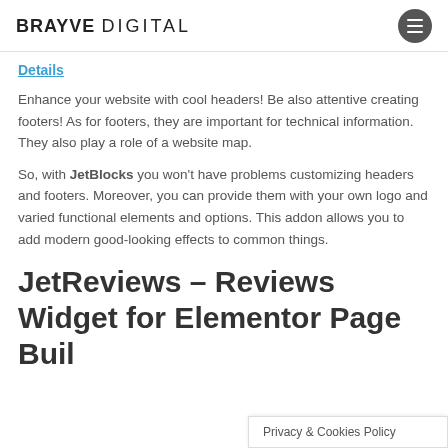BRAYVE DIGITAL
Details
Enhance your website with cool headers! Be also attentive creating footers! As for footers, they are important for technical information. They also play a role of a website map.
So, with JetBlocks you won't have problems customizing headers and footers. Moreover, you can provide them with your own logo and varied functional elements and options. This addon allows you to add modern good-looking effects to common things.
JetReviews – Reviews Widget for Elementor Page Buil...
Privacy & Cookies Policy